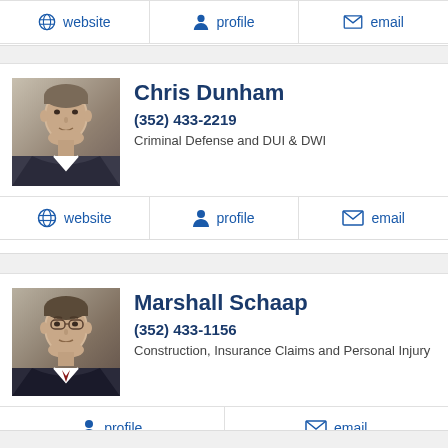[Figure (other): Action bar with website, profile, email links (top of page, partial card above)]
[Figure (photo): Headshot photo of attorney Chris Dunham]
Chris Dunham
(352) 433-2219
Criminal Defense and DUI & DWI
[Figure (other): Action bar with website, profile, email links for Chris Dunham]
[Figure (photo): Headshot photo of attorney Marshall Schaap]
Marshall Schaap
(352) 433-1156
Construction, Insurance Claims and Personal Injury
[Figure (other): Action bar with profile and email links for Marshall Schaap]
James D. Ml...